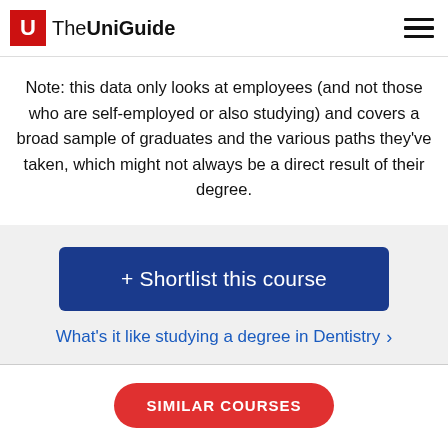The UniGuide
Note: this data only looks at employees (and not those who are self-employed or also studying) and covers a broad sample of graduates and the various paths they've taken, which might not always be a direct result of their degree.
+ Shortlist this course
What's it like studying a degree in Dentistry ›
SIMILAR COURSES